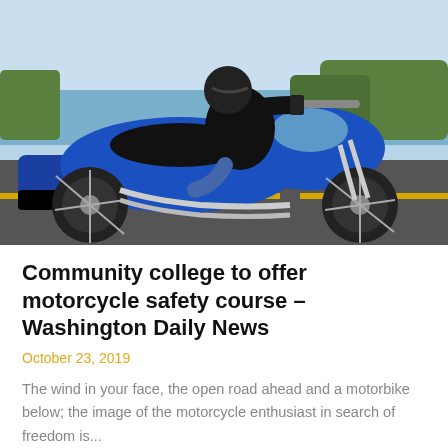[Figure (photo): A man in a black helmet and leather jacket riding a large blue Harley-Davidson touring motorcycle on a road with a river and trees in the background.]
Community college to offer motorcycle safety course – Washington Daily News
October 23, 2019
The wind in your face, the open road ahead and a motorbike below; the image of the motorcycle enthusiast in search of freedom is...